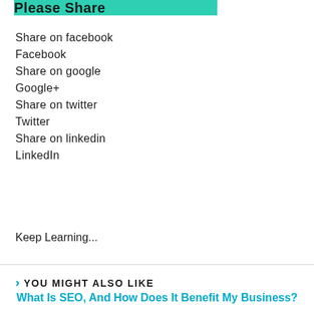Please Share
Share on facebook
Facebook
Share on google
Google+
Share on twitter
Twitter
Share on linkedin
LinkedIn
Keep Learning...
YOU MIGHT ALSO LIKE
What Is SEO, And How Does It Benefit My Business?